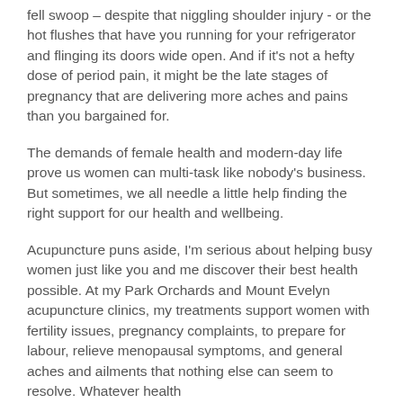fell swoop – despite that niggling shoulder injury - or the hot flushes that have you running for your refrigerator and flinging its doors wide open. And if it's not a hefty dose of period pain, it might be the late stages of pregnancy that are delivering more aches and pains than you bargained for.
The demands of female health and modern-day life prove us women can multi-task like nobody's business. But sometimes, we all needle a little help finding the right support for our health and wellbeing.
Acupuncture puns aside, I'm serious about helping busy women just like you and me discover their best health possible. At my Park Orchards and Mount Evelyn acupuncture clinics, my treatments support women with fertility issues, pregnancy complaints, to prepare for labour, relieve menopausal symptoms, and general aches and ailments that nothing else can seem to resolve. Whatever health